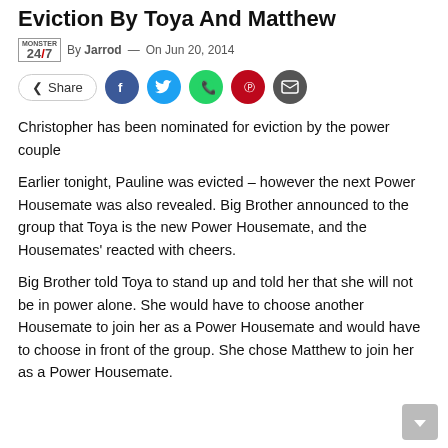Eviction By Toya And Matthew
By Jarrod — On Jun 20, 2014
Christopher has been nominated for eviction by the power couple
Earlier tonight, Pauline was evicted – however the next Power Housemate was also revealed. Big Brother announced to the group that Toya is the new Power Housemate, and the Housemates' reacted with cheers.
Big Brother told Toya to stand up and told her that she will not be in power alone. She would have to choose another Housemate to join her as a Power Housemate and would have to choose in front of the group. She chose Matthew to join her as a Power Housemate.